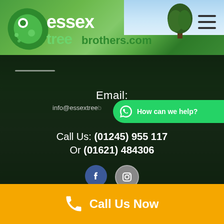[Figure (logo): Essex Tree Brothers logo with green rocket/leaf shape and text 'essex tree brothers.com']
[Figure (photo): Header banner with green field/tree landscape background]
Email:
info@essextree brothers.com
How can we help?
Call Us: (01245) 955 117
Or (01621) 484306
[Figure (infographic): Facebook and Instagram social media icons]
Call Us Now